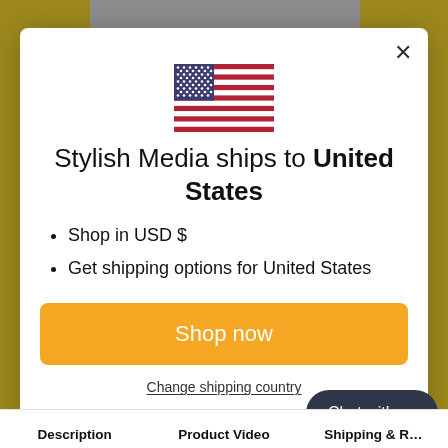[Figure (screenshot): Modal dialog on an e-commerce website with US flag, shipping info, Shop now button, and Change shipping country link. Background shows yellow site header and gray product image area. Chat with us button visible in bottom right.]
Stylish Media ships to United States
Shop in USD $
Get shipping options for United States
Shop now
Change shipping coun…
Description
Product Video
Shipping & R…